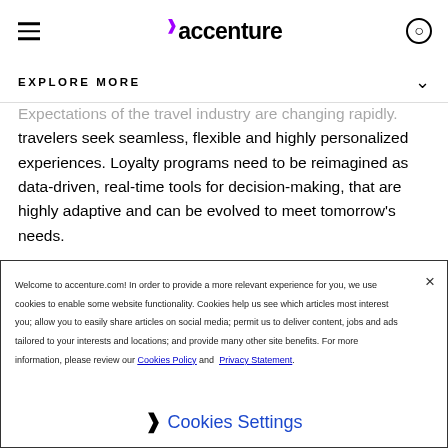accenture
EXPLORE MORE
Expectations of the travel industry are changing rapidly. travelers seek seamless, flexible and highly personalized experiences. Loyalty programs need to be reimagined as data-driven, real-time tools for decision-making, that are highly adaptive and can be evolved to meet tomorrow's needs.
That vision can only be built on the foundation of coherent insight drawn from customer and business data. It demands
Welcome to accenture.com! In order to provide a more relevant experience for you, we use cookies to enable some website functionality. Cookies help us see which articles most interest you; allow you to easily share articles on social media; permit us to deliver content, jobs and ads tailored to your interests and locations; and provide many other site benefits. For more information, please review our Cookies Policy and Privacy Statement.
❯ Cookies Settings